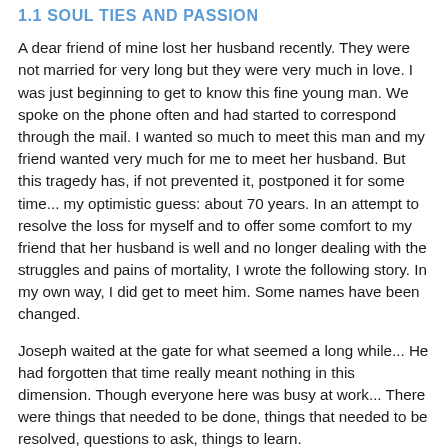1.1 SOUL TIES AND PASSION
A dear friend of mine lost her husband recently. They were not married for very long but they were very much in love. I was just beginning to get to know this fine young man. We spoke on the phone often and had started to correspond through the mail. I wanted so much to meet this man and my friend wanted very much for me to meet her husband. But this tragedy has, if not prevented it, postponed it for some time... my optimistic guess: about 70 years. In an attempt to resolve the loss for myself and to offer some comfort to my friend that her husband is well and no longer dealing with the struggles and pains of mortality, I wrote the following story. In my own way, I did get to meet him. Some names have been changed.
Joseph waited at the gate for what seemed a long while... He had forgotten that time really meant nothing in this dimension. Though everyone here was busy at work... There were things that needed to be done, things that needed to be resolved, questions to ask, things to learn.
A woman approached the gate and stood at...